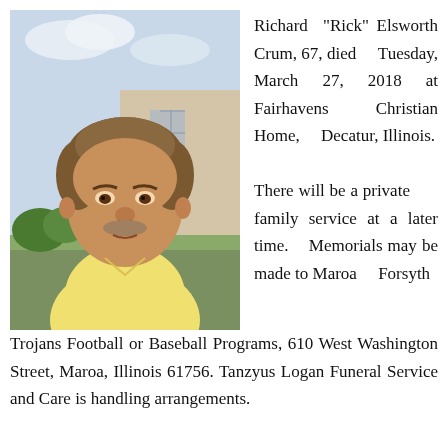[Figure (photo): Portrait photo of an older man with gray-brown hair and a mustache, wearing a yellow polo shirt, with a building and greenery in the background.]
Richard “Rick” Elsworth Crum, 67, died Tuesday, March 27, 2018 at Fairhavens Christian Home, Decatur, Illinois.

There will be a private family service at a later time. Memorials may be made to Maroa Forsyth Trojans Football or Baseball Programs, 610 West Washington Street, Maroa, Illinois 61756. Tanzyus Logan Funeral Service and Care is handling arrangements.